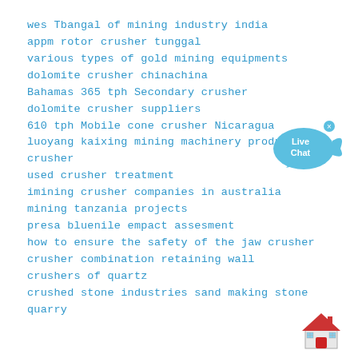wes Tbangal of mining industry india
appm rotor crusher tunggal
various types of gold mining equipments
dolomite crusher chinachina
Bahamas 365 tph Secondary crusher
dolomite crusher suppliers
610 tph Mobile cone crusher Nicaragua
luoyang kaixing mining machinery production crusher
used crusher treatment
imining crusher companies in australia
mining tanzania projects
presa bluenile empact assesment
how to ensure the safety of the jaw crusher
crusher combination retaining wall
crushers of quartz
crushed stone industries sand making stone quarry
[Figure (illustration): Live Chat bubble icon with fish shape in blue]
[Figure (illustration): Red house/building icon]